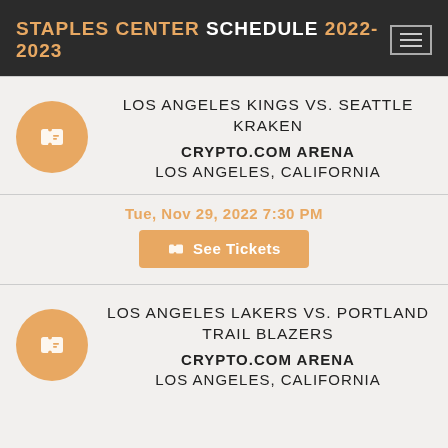STAPLES CENTER SCHEDULE 2022-2023
LOS ANGELES KINGS VS. SEATTLE KRAKEN
CRYPTO.COM ARENA
LOS ANGELES, CALIFORNIA
Tue, Nov 29, 2022 7:30 PM
See Tickets
LOS ANGELES LAKERS VS. PORTLAND TRAIL BLAZERS
CRYPTO.COM ARENA
LOS ANGELES, CALIFORNIA